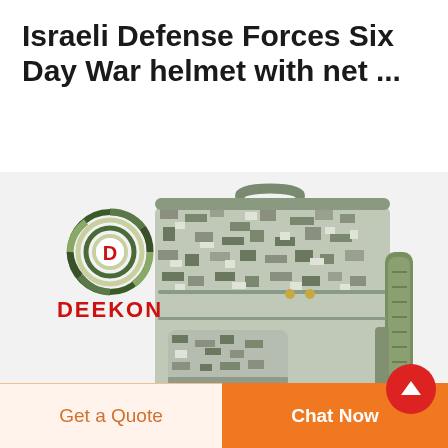Israeli Defense Forces Six Day War helmet with net ...
[Figure (photo): Digital camouflage military tactical backpack (ACU pattern, grey/green tones) with MOLLE webbing, multiple compartments, and carry handle. Deekon brand logo (circular camouflage target design with letter D in center, red DEEKON text below) visible in upper left of image.]
Get a Quote
Chat Now